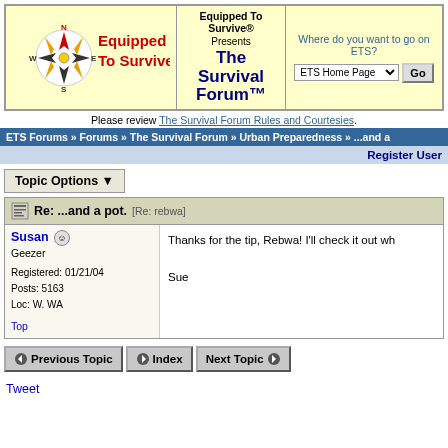[Figure (logo): Equipped To Survive logo with compass rose and red/blue text]
Equipped To Survive® Presents The Survival Forum™ | Where do you want to go on ETS? ETS Home Page [dropdown] Go
Please review The Survival Forum Rules and Courtesies.
ETS Forums » Forums » The Survival Forum » Urban Preparedness » ...and a
Register User
Topic Options ▼
Re: ...and a pot. [Re: rebwa]
Susan
Geezer
Registered: 01/21/04
Posts: 5163
Loc: W. WA
Top
Thanks for the tip, Rebwa! I'll check it out wh

Sue
Previous Topic  Index  Next Topic
Tweet